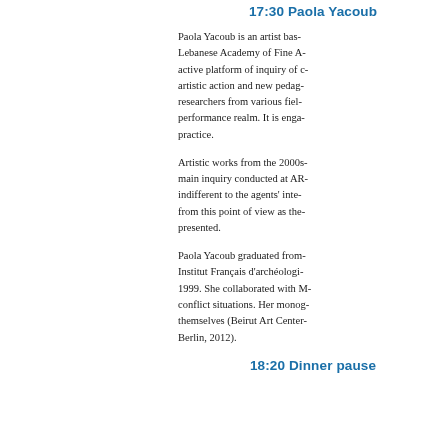17:30 Paola Yacoub
Paola Yacoub is an artist bas... Lebanese Academy of Fine A... active platform of inquiry of c... artistic action and new pedag... researchers from various fiel... performance realm. It is enga... practice.
Artistic works from the 2000s... main inquiry conducted at AR... indifferent to the agents' inte... from this point of view as the... presented.
Paola Yacoub graduated from... Institut Français d'archéologi... 1999. She collaborated with M... conflict situations. Her monog... themselves (Beirut Art Center... Berlin, 2012).
18:20 Dinner pause